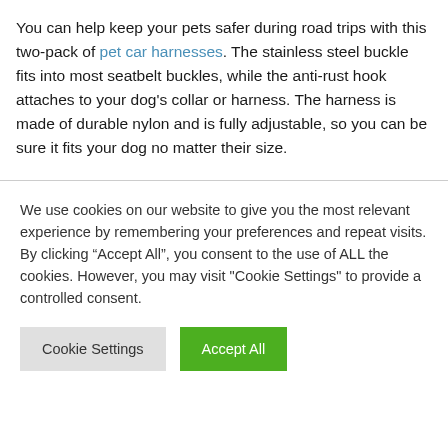You can help keep your pets safer during road trips with this two-pack of pet car harnesses. The stainless steel buckle fits into most seatbelt buckles, while the anti-rust hook attaches to your dog's collar or harness. The harness is made of durable nylon and is fully adjustable, so you can be sure it fits your dog no matter their size.
We use cookies on our website to give you the most relevant experience by remembering your preferences and repeat visits. By clicking “Accept All”, you consent to the use of ALL the cookies. However, you may visit "Cookie Settings" to provide a controlled consent.